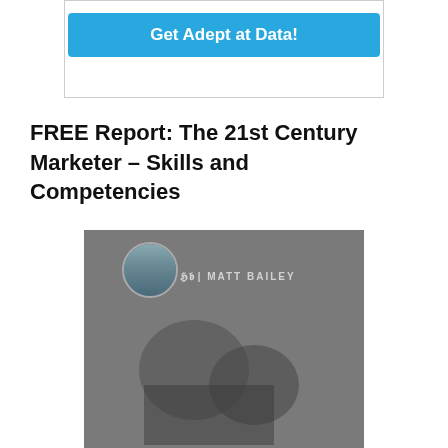[Figure (screenshot): A button box with a cyan 'Get Adept at Data!' call-to-action button inside a bordered white container]
FREE Report: The 21st Century Marketer – Skills and Competencies
[Figure (photo): Book cover for 'The 21st Century Marketer' by Matt Bailey, with a dark overlay showing people working, Matt Bailey's avatar photo in a circle, his logo and name, and book title text at the bottom in gold italic font with subtitle 'WHAT TO LOOK FOR IN THE']
[Figure (other): Cyan chat widget bubble with a hand wave icon and text 'I'm here to help!', plus a scroll-to-top dark button with an up arrow and a cyan circular chat icon]